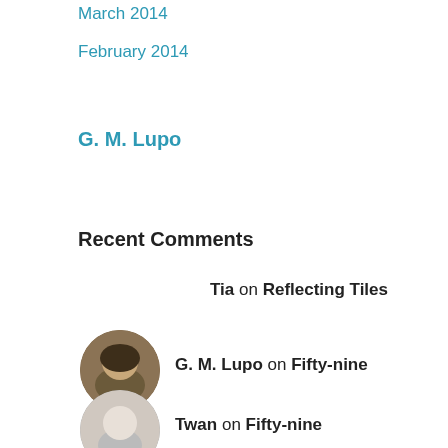March 2014
February 2014
G. M. Lupo
Recent Comments
Tia on Reflecting Tiles
[Figure (photo): Circular avatar photo of G. M. Lupo]
G. M. Lupo on Fifty-nine
[Figure (photo): Circular avatar photo of Twan]
Twan on Fifty-nine
[Figure (photo): Circular avatar photo of G. M. Lupo]
G. M. Lupo on Wendell Earnest Lupo,